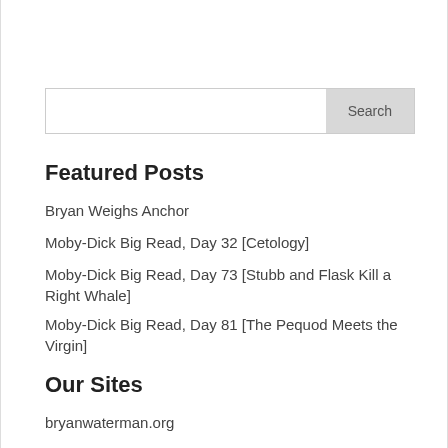Featured Posts
Bryan Weighs Anchor
Moby-Dick Big Read, Day 32 [Cetology]
Moby-Dick Big Read, Day 73 [Stubb and Flask Kill a Right Whale]
Moby-Dick Big Read, Day 81 [The Pequod Meets the Virgin]
Our Sites
bryanwaterman.org